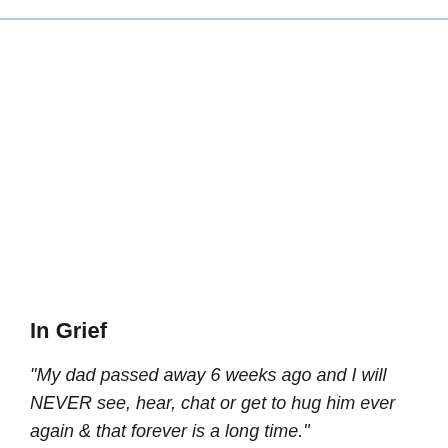In Grief
"My dad passed away 6 weeks ago and I will NEVER see, hear, chat or get to hug him ever again & that forever is a long time."